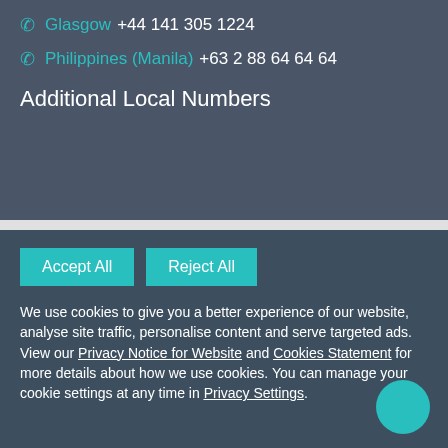Glasgow +44 141 305 1224
Philippines (Manila) +63 2 88 64 64 64
Additional Local Numbers
Accept All   Reject All
We use cookies to give you a better experience of our website, analyse site traffic, personalise content and serve targeted ads. View our Privacy Notice for Website and Cookies Statement for more details about how we use cookies. You can manage your cookie settings at any time in Privacy Settings.